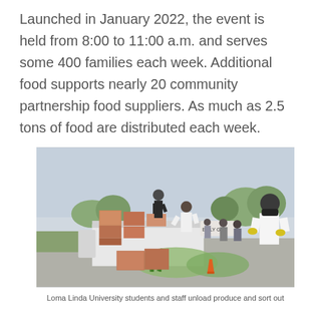Launched in January 2022, the event is held from 8:00 to 11:00 a.m. and serves some 400 families each week. Additional food supports nearly 20 community partnership food suppliers. As much as 2.5 tons of food are distributed each week.
[Figure (photo): Loma Linda University students and staff unloading produce from a truck and sorting out food at an outdoor food distribution event. People wearing masks are handling boxes and bags of vegetables.]
Loma Linda University students and staff unload produce and sort out